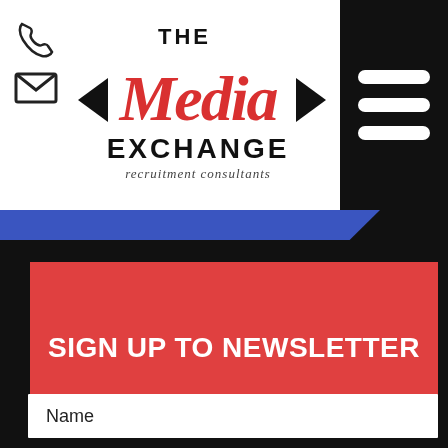[Figure (logo): The Media Exchange recruitment consultants logo with phone and email icons on left and hamburger menu on right]
SIGN UP TO NEWSLETTER
Name
Last Name